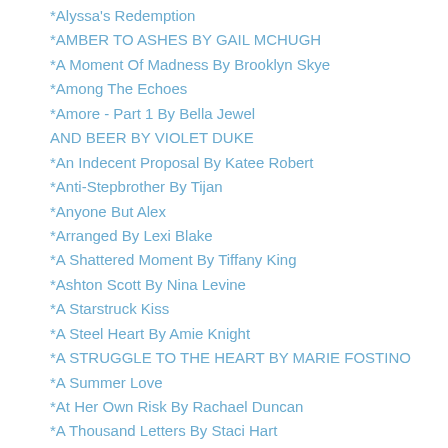*Alyssa's Redemption
*AMBER TO ASHES BY GAIL MCHUGH
*A Moment Of Madness By Brooklyn Skye
*Among The Echoes
*Amore - Part 1 By Bella Jewel
AND BEER BY VIOLET DUKE
*An Indecent Proposal By Katee Robert
*Anti-Stepbrother By Tijan
*Anyone But Alex
*Arranged By Lexi Blake
*A Shattered Moment By Tiffany King
*Ashton Scott By Nina Levine
*A Starstruck Kiss
*A Steel Heart By Amie Knight
*A STRUGGLE TO THE HEART BY MARIE FOSTINO
*A Summer Love
*At Her Own Risk By Rachael Duncan
*A Thousand Letters By Staci Hart
*At The Stars By Elisabeth Staab
*A Veil Of Vines By Tillie Cole
*A VERY GREY CHRISTMAS BY T.A. FOSTER
Baby